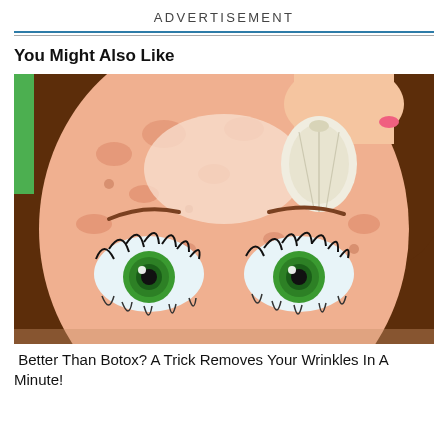ADVERTISEMENT
You Might Also Like
[Figure (illustration): Cartoon illustration of a woman's face with freckles and green eyes, with a hand applying a garlic clove to her forehead as a skin treatment.]
Better Than Botox? A Trick Removes Your Wrinkles In A Minute!